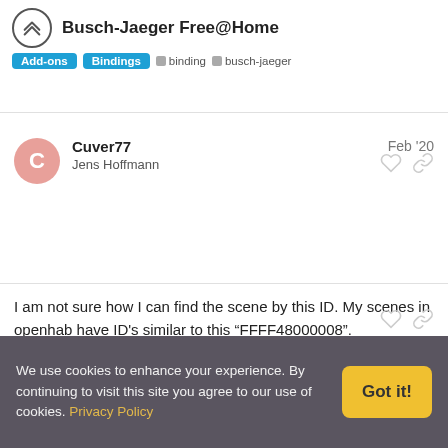Busch-Jaeger Free@Home | Add-ons | Bindings | binding | busch-jaeger
Are you using some script based triggering, or similar involving scene at a interval call/cron with timing for when the binding...
Cuver77  Feb '20
Jens Hoffmann
I am not sure how I can find the scene by this ID. My scenes in openhab have ID's similar to this “FFFF48000008”.

Yes I activate scenes for rollershutters via rules. E.g. close rollshuter when enter the bathroom or open rollershutter for wakeup. But this rules should be used at least once a day.
We use cookies to enhance your experience. By continuing to visit this site you agree to our use of cookies. Privacy Policy